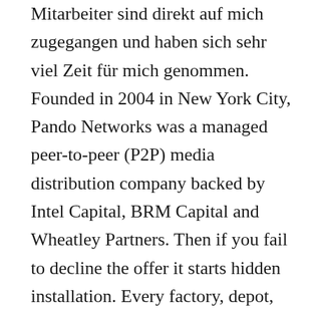Mitarbeiter sind direkt auf mich zugegangen und haben sich sehr viel Zeit für mich genommen. Founded in 2004 in New York City, Pando Networks was a managed peer-to-peer (P2P) media distribution company backed by Intel Capital, BRM Capital and Wheatley Partners. Then if you fail to decline the offer it starts hidden installation. Every factory, depot, and warehouse and every transporter now operates in the same way, enabling realtime optimization and visibility of KPI's. Pando Media Booster is a Freeware software in the category Games & Entertainment developed by Pando Networks Inc.. Home . Ich kann Pandomedia gerne empfehlen. B. Die